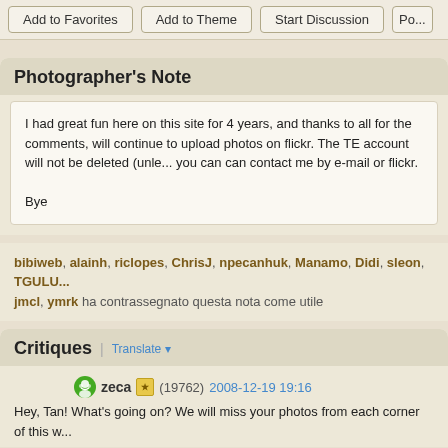Add to Favorites | Add to Theme | Start Discussion | Po...
Photographer's Note
I had great fun here on this site for 4 years, and thanks to all for the comments, will continue to upload photos on flickr. The TE account will not be deleted (unle... you can can contact me by e-mail or flickr.

Bye
bibiweb, alainh, riclopes, ChrisJ, npecanhuk, Manamo, Didi, sleon, TGULU... jmcl, ymrk ha contrassegnato questa nota come utile
Critiques | Translate
zeca (19762) 2008-12-19 19:16
Hey, Tan! What's going on? We will miss your photos from each corner of this w...